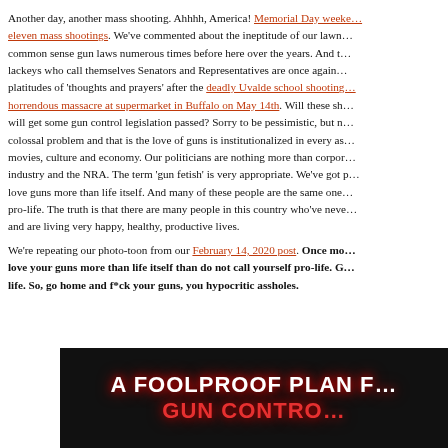Another day, another mass shooting. Ahhhh, America! Memorial Day weekend saw eleven mass shootings. We've commented about the ineptitude of our lawmakers to pass common sense gun laws numerous times before here over the years. And the corporate lackeys who call themselves Senators and Representatives are once again offering platitudes of 'thoughts and prayers' after the deadly Uvalde school shooting and the horrendous massacre at supermarket in Buffalo on May 14th. Will these sh… will get some gun control legislation passed? Sorry to be pessimistic, but n… colossal problem and that is the love of guns is institutionalized in every as… movies, culture and economy. Our politicians are nothing more than corpo… industry and the NRA. The term 'gun fetish' is very appropriate. We've got p… love guns more than life itself. And many of these people are the same one… pro-life. The truth is that there are many people in this country who've neve… and are living very happy, healthy, productive lives.
We're repeating our photo-toon from our February 14, 2020 post. Once mo… love your guns more than life itself than do not call yourself pro-life. G… life. So, go home and f*ck your guns, you hypocritic assholes.
[Figure (illustration): Dark background image with bold white and red text reading 'A FOOLPROOF PLAN F… GUN CONTRO…']